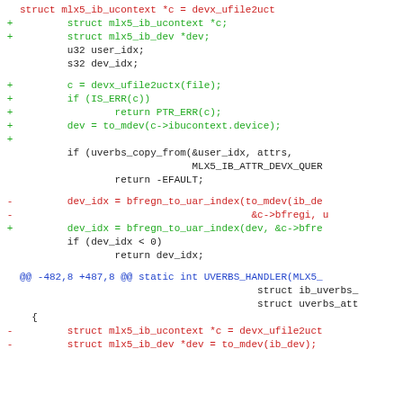[Figure (screenshot): A unified diff / code patch view showing C source code changes. Lines prefixed with + are additions (green), lines prefixed with - are deletions (red), and context lines are black. A hunk header line is shown in blue.]